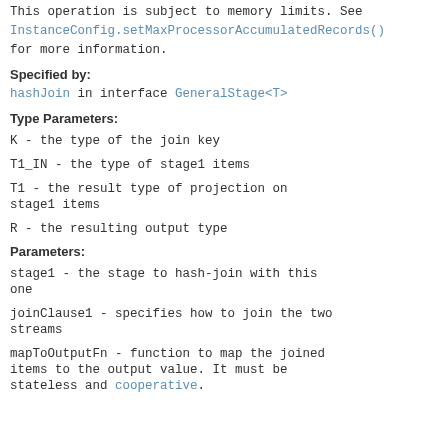This operation is subject to memory limits. See InstanceConfig.setMaxProcessorAccumulatedRecords() for more information.
Specified by:
hashJoin in interface GeneralStage<T>
Type Parameters:
K - the type of the join key
T1_IN - the type of stage1 items
T1 - the result type of projection on stage1 items
R - the resulting output type
Parameters:
stage1 - the stage to hash-join with this one
joinClause1 - specifies how to join the two streams
mapToOutputFn - function to map the joined items to the output value. It must be stateless and cooperative.